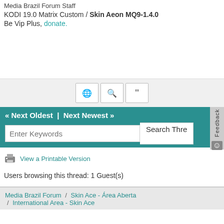Media Brazil Forum Staff
KODI 19.0 Matrix Custom / Skin Aeon MQ9-1.4.0
Be Vip Plus, donate.
[Figure (screenshot): Toolbar with globe, search, and quote buttons on a light gray background]
« Next Oldest  |  Next Newest »
Enter Keywords search bar with Search Thread button
View a Printable Version
Users browsing this thread: 1 Guest(s)
Media Brazil Forum / Skin Ace - Área Aberta / International Area - Skin Ace